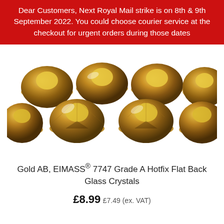Dear Customers, Next Royal Mail strike is on 8th & 9th September 2022. You could choose courier service at the checkout for urgent orders during those dates
[Figure (photo): Close-up photo of multiple gold AB crystal rhinestones (hotfix flat back glass crystals) arranged on a white surface, showing their faceted tops with gold and iridescent AB finish.]
Gold AB, EIMASS® 7747 Grade A Hotfix Flat Back Glass Crystals
£8.99 £7.49 (ex. VAT)